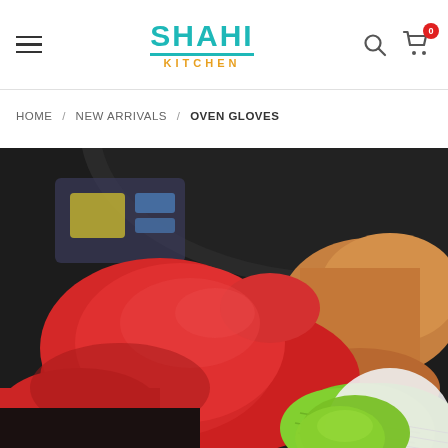SHAHI KITCHEN — navigation header with hamburger menu, logo, search icon, and cart icon (0 items)
HOME / NEW ARRIVALS / OVEN GLOVES
[Figure (photo): Close-up photo of hands wearing red and green silicone oven gloves holding a dark non-stick pan/bowl. The red glove is prominently in the foreground on the left, with a green glove visible in the lower right corner. A blurred product label is visible in the upper left background.]